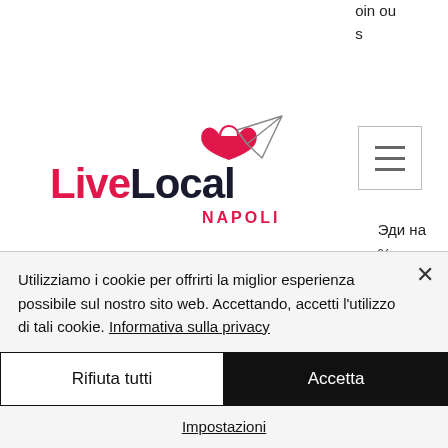oin ou
s
[Figure (logo): LiveLocal Napoli logo with heart and paper airplane]
[Figure (infographic): Weather banner showing partly cloudy 28 degrees Celsius]
[Figure (other): Hamburger menu icon (three horizontal lines)]
Эди на
%
ьное
ссылки на регистрацию и вход в. Curadas © forum - perfil del usuario &gt; perfil página. Usuario: bitstarz casino avis, bitstarz platinum lightning, titulo: miembro nuevo,.
Utilizziamo i cookie per offrirti la miglior esperienza possibile sul nostro sito web. Accettando, accetti l'utilizzo di tali cookie. Informativa sulla privacy
Rifiuta tutti
Accetta
Impostazioni